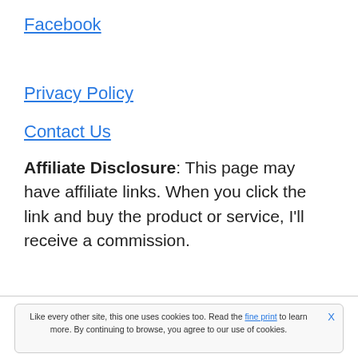Facebook
Privacy Policy
Contact Us
Affiliate Disclosure: This page may have affiliate links. When you click the link and buy the product or service, I'll receive a commission.
Like every other site, this one uses cookies too. Read the fine print to learn more. By continuing to browse, you agree to our use of cookies.